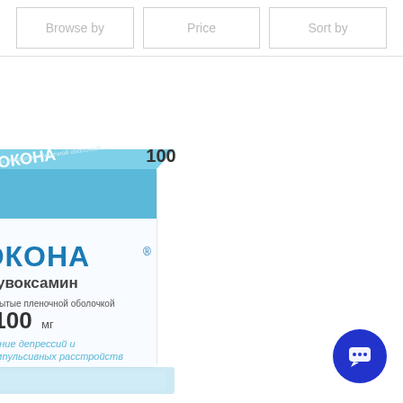Browse by | Price | Sort by
[Figure (photo): Photograph of a medication box for РОКОНА (Fluvoxamine / Флувоксамин), film-coated tablets 100 mg, treatment of depression and obsessive-compulsive disorders, 30 tablets. The box is white and light blue. Text on box: РОКОНА, Флувоксамин, Таблетки, покрытые пленочной оболочкой, 100 мг, Лечение депрессий и обсессивно-компульсивных расстройств. A blue chat/support button is visible in the lower right corner.]